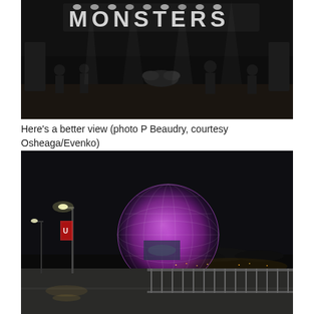[Figure (photo): Concert stage photo at night showing band performing under lights spelling MONSTERS, dark background with stage equipment visible]
Here's a better view (photo P Beaudry, courtesy Osheaga/Evenko)
[Figure (photo): Nighttime photo of a large illuminated purple/pink geodesic sphere (resembling Epcot's Spaceship Earth) visible from a bridge or elevated roadway with street lights, dark sky and treeline in background]